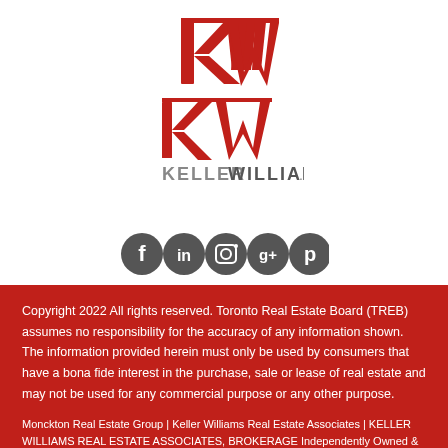[Figure (logo): Keller Williams logo: red 'kw' monogram above gray 'KELLERWILLIAMS.' wordmark]
[Figure (infographic): Row of five dark gray circular social media icons: Facebook, LinkedIn, Instagram, Google+, Pinterest]
Copyright 2022 All rights reserved. Toronto Real Estate Board (TREB) assumes no responsibility for the accuracy of any information shown. The information provided herein must only be used by consumers that have a bona fide interest in the purchase, sale or lease of real estate and may not be used for any commercial purpose or any other purpose.
Monckton Real Estate Group | Keller Williams Real Estate Associates | KELLER WILLIAMS REAL ESTATE ASSOCIATES, BROKERAGE Independently Owned & Operated | 905-812-8123 | 521 Main Street, Glen Williams, L7G3T1
| Terms of Use | Privacy Policy | Register | Login
Agent iLocator